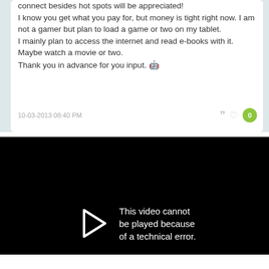connect besides hot spots will be appreciated! I know you get what you pay for, but money is tight right now. I am not a gamer but plan to load a game or two on my tablet. I mainly plan to access the internet and read e-books with it. Maybe watch a movie or two. Thank you in advance for you input. 🤖
10-03-2013 08:40 PM
[Figure (screenshot): Black video player showing error message: 'This video cannot be played because of a technical error.' with a partial play button arrow icon visible on the left side.]